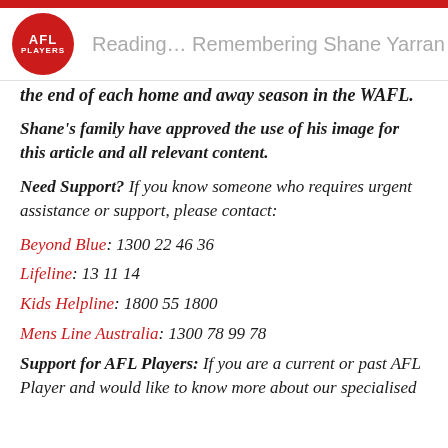Reading… Remembering Shane Yarran
the end of each home and away season in the WAFL.
Shane's family have approved the use of his image for this article and all relevant content.
Need Support? If you know someone who requires urgent assistance or support, please contact:
Beyond Blue: 1300 22 46 36
Lifeline: 13 11 14
Kids Helpline: 1800 55 1800
Mens Line Australia: 1300 78 99 78
Support for AFL Players: If you are a current or past AFL Player and would like to know more about our specialised